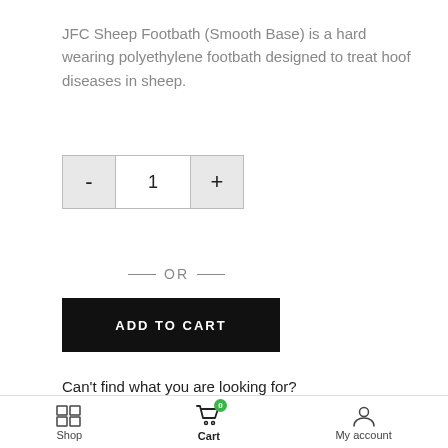JFC Sheep Footbath (Smooth Base) is a hard wearing polyethylene footbath designed to treat hoof diseases in sheep.
— OR —
ADD TO CART
Can't find what you are looking for?
Free delivery on online orders over €170 in Ireland only. Terms may apply. - Signup to our
DISMISS
Shop
Cart
My account